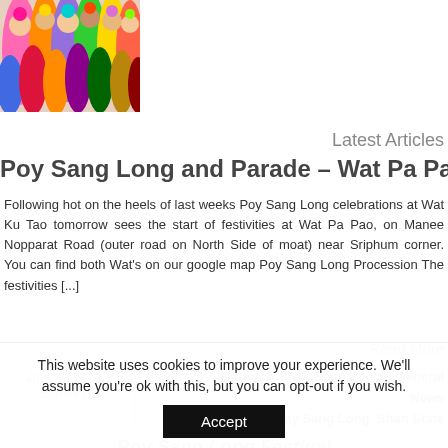[Figure (photo): Colorful crowd of people celebrating Poy Sang Long festival, wearing vibrant colored clothes and headdresses]
Latest Articles
Poy Sang Long and Parade – Wat Pa Pao
Following hot on the heels of last weeks Poy Sang Long celebrations at Wat Ku Tao tomorrow sees the start of festivities at Wat Pa Pao, on Manee Nopparat Road (outer road on North Side of moat) near Sriphum corner. You can find both Wat's on our google map Poy Sang Long Procession The festivities [...]
...Read More
Apr 3, 2011
BonTong
Categories : Burma & Shan State, Events, General News
Tags : Featured, Poy Sang Long, Shan State
Poy Sang Long Festival
This website uses cookies to improve your experience. We'll assume you're ok with this, but you can opt-out if you wish.
Accept